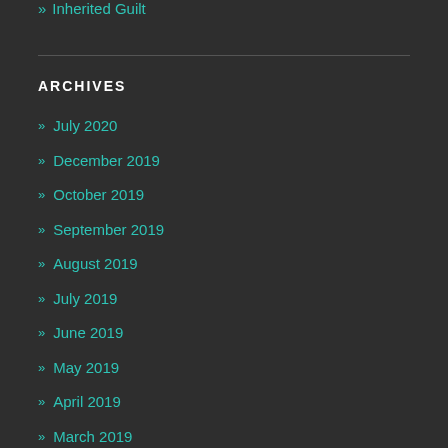» Inherited Guilt
ARCHIVES
» July 2020
» December 2019
» October 2019
» September 2019
» August 2019
» July 2019
» June 2019
» May 2019
» April 2019
» March 2019